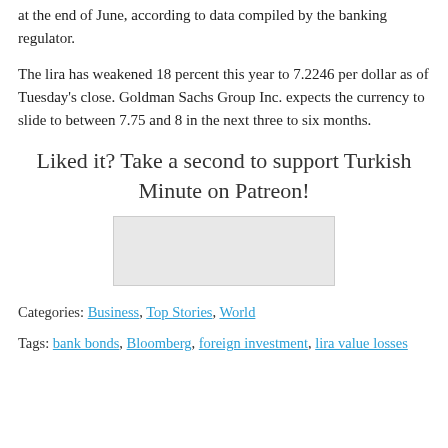at the end of June, according to data compiled by the banking regulator.
The lira has weakened 18 percent this year to 7.2246 per dollar as of Tuesday's close. Goldman Sachs Group Inc. expects the currency to slide to between 7.75 and 8 in the next three to six months.
Liked it? Take a second to support Turkish Minute on Patreon!
[Figure (other): Patreon button/widget placeholder image]
Categories: Business, Top Stories, World
Tags: bank bonds, Bloomberg, foreign investment, lira value losses